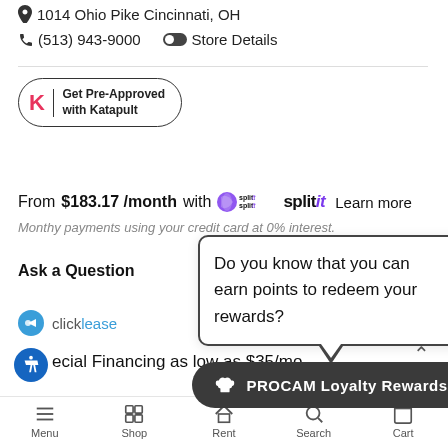📍 1014 Ohio Pike Cincinnati, OH
📞 (513) 943-9000   🔘 Store Details
[Figure (logo): Katapult logo button: Get Pre-Approved with Katapult]
From $183.17 /month with splitit   Learn more
Monthy payments using your credit card at 0% interest.
Ask a Question
[Figure (logo): clicklease logo]
ecial Financing as low as $35/mo
Do you know that you can earn points to redeem your rewards?
PROCAM Loyalty Rewards
Menu   Shop   Rent   Search   Cart